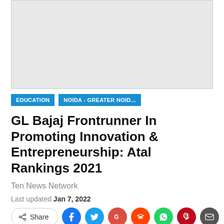[Figure (other): Grey advertisement placeholder box]
EDUCATION   NOIDA - GREATER NOID...
GL Bajaj Frontrunner In Promoting Innovation & Entrepreneurship: Atal Rankings 2021
Ten News Network
Last updated Jan 7, 2022
Share (social share buttons: Facebook, Twitter, Google, Reddit, WhatsApp, Pinterest, Email)